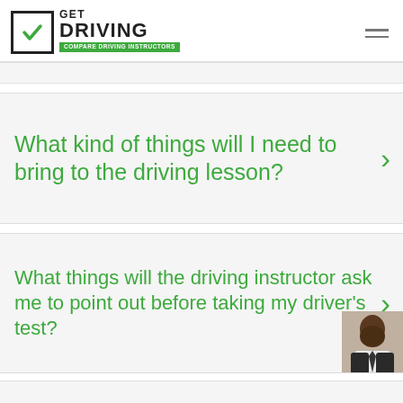[Figure (logo): Get Driving - Compare Driving Instructors logo with green checkbox icon]
What kind of things will I need to bring to the driving lesson?
What things will the driving instructor ask me to point out before taking my driver's test?
[Figure (photo): Partial photo of a man in a suit at bottom right corner]